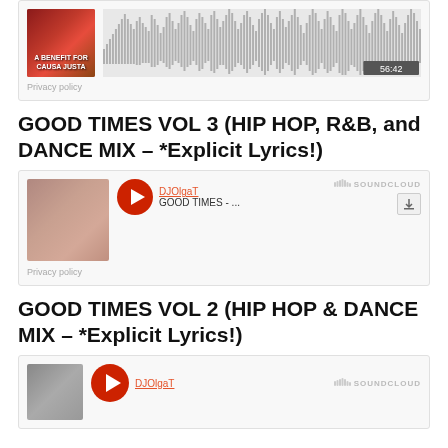[Figure (screenshot): SoundCloud widget showing audio waveform for 'A Benefit for Causa Justa' with duration 56:42, with Privacy policy text below]
Privacy policy
GOOD TIMES VOL 3 (HIP HOP, R&B, and DANCE MIX – *Explicit Lyrics!)
[Figure (screenshot): SoundCloud widget with pink/mauve album art, red play button, DJOlgaT link, GOOD TIMES - ... track title, SoundCloud logo and download button]
Privacy policy
GOOD TIMES VOL 2 (HIP HOP & DANCE MIX – *Explicit Lyrics!)
[Figure (screenshot): Partial SoundCloud widget showing gray album art, red play button, DJOlgaT link, SoundCloud logo]